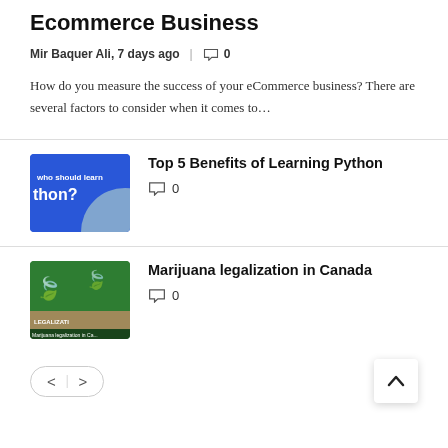Ecommerce Metrics: How to Grow Your Ecommerce Business
Mir Baquer Ali, 7 days ago  |  0
How do you measure the success of your eCommerce business? There are several factors to consider when it comes to…
Top 5 Benefits of Learning Python
0
Marijuana legalization in Canada
0